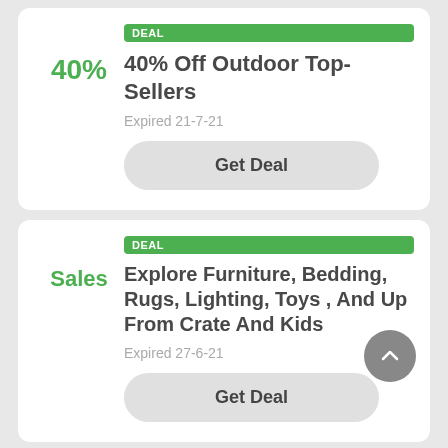40%
DEAL
40% Off Outdoor Top-Sellers
Expired 21-7-21
Get Deal
Sales
DEAL
Explore Furniture, Bedding, Rugs, Lighting, Toys , And Up From Crate And Kids
Expired 27-6-21
Get Deal
PROMO CODE